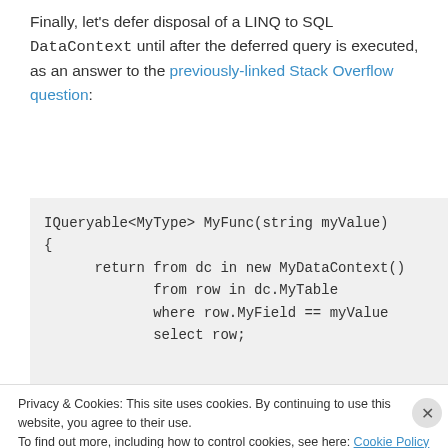Finally, let's defer disposal of a LINQ to SQL DataContext until after the deferred query is executed, as an answer to the previously-linked Stack Overflow question:
[Figure (screenshot): Code block showing IQueryable<MyType> MyFunc(string myValue) { return from dc in new MyDataContext() from row in dc.MyTable where row.MyField == myValue select row;]
Privacy & Cookies: This site uses cookies. By continuing to use this website, you agree to their use.
To find out more, including how to control cookies, see here: Cookie Policy